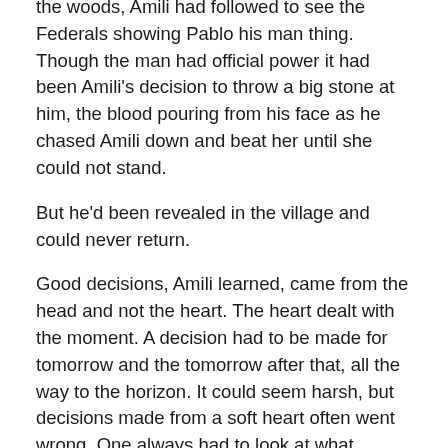the woods, Amili had followed to see the Federals showing Pablo his man thing. Though the man had official power it had been Amili's decision to throw a big stone at him, the blood pouring from his face as he chased Amili down and beat her until she could not stand.
But he'd been revealed in the village and could never return.
Good decisions, Amili learned, came from the head and not the heart. The heart dealt with the moment. A decision had to be made for tomorrow and the tomorrow after that, all the way to the horizon. It could seem harsh, but decisions made from a soft heart often went wrong. One always had to look at what decisions did for the tomorrows.
Her hardest decision had come one month ago, when Miguel Tolandoro drove into the village in a truck as bright as silver, scattering dust and chickens. His belly was big and heavy and when he held it in his hands and shook it, he told of how much food there was in America. “Everywhere you look